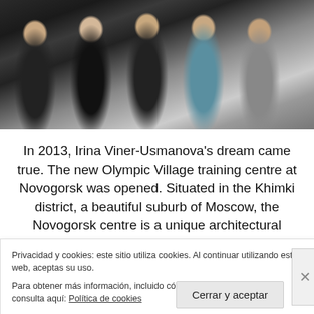[Figure (photo): Group photo of five young women posing together, smiling, indoors. One wears a dark hoodie with a badge/patch, another wears a light blue sports outfit holding a blue ball-shaped object.]
In 2013, Irina Viner-Usmanova’s dream came true. The new Olympic Village training centre at Novogorsk was opened. Situated in the Khimki district, a beautiful suburb of Moscow, the Novogorsk centre is a unique architectural
Privacidad y cookies: este sitio utiliza cookies. Al continuar utilizando esta web, aceptas su uso.
Para obtener más información, incluido cómo controlar las cookies, consulta aquí: Política de cookies
Cerrar y aceptar
INFORMAR SOBRE ESTE ANUNCIO